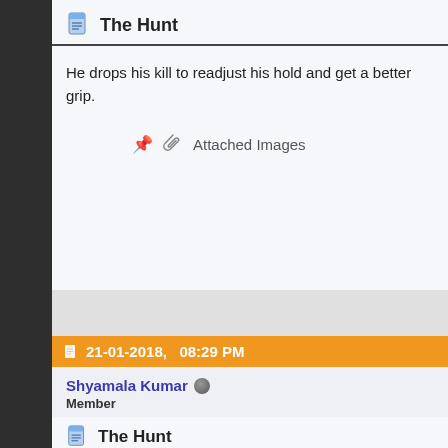The Hunt
He drops his kill to readjust his hold and get a better grip.
Attached Images
21-01-2018, 08:29 PM
Shyamala Kumar
Member
The Hunt
Tries to get a more effective grip.